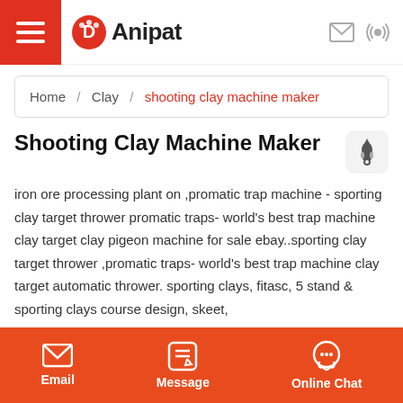Anipat
Home  /  Clay  /  shooting clay machine maker
Shooting Clay Machine Maker
iron ore processing plant on ,promatic trap machine - sporting clay target thrower promatic traps- world's best trap machine clay target clay pigeon machine for sale ebay..sporting clay target thrower ,promatic traps- world's best trap machine clay target automatic thrower. sporting clays, fitasc, 5 stand & sporting clays course design, skeet,
Email  Message  Online Chat